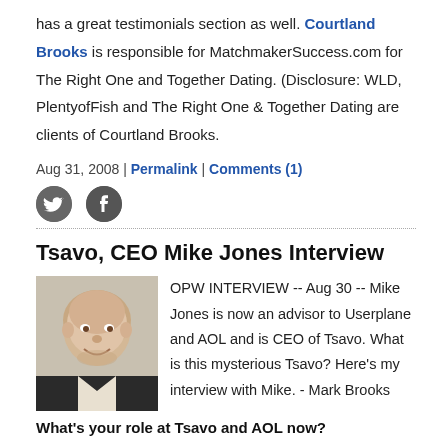has a great testimonials section as well. Courtland Brooks is responsible for MatchmakerSuccess.com for The Right One and Together Dating. (Disclosure: WLD, PlentyofFish and The Right One & Together Dating are clients of Courtland Brooks.
Aug 31, 2008 | Permalink | Comments (1)
[Figure (other): Twitter and Facebook social share icons]
Tsavo, CEO Mike Jones Interview
[Figure (photo): Photo of Mike Jones, a smiling bald man in a dark jacket]
OPW INTERVIEW -- Aug 30 -- Mike Jones is now an advisor to Userplane and AOL and is CEO of Tsavo. What is this mysterious Tsavo? Here's my interview with Mike. - Mark Brooks
What's your role at Tsavo and AOL now?
With AOL I function as a Strategic Advisor, facilitating the transition to Sam Wick for daily management of the Userplane business. The majority of my time operationally is setting up Tsavo and finalizing the